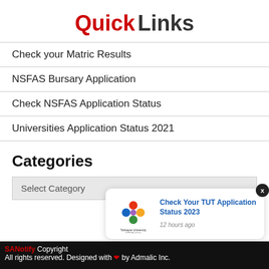Quick Links
Check your Matric Results
NSFAS Bursary Application
Check NSFAS Application Status
Universities Application Status 2021
Categories
Select Category
[Figure (screenshot): Notification popup showing Tshwane University of Technology logo with text: Check Your TUT Application Status 2023, 12 hours ago, with a close X button]
SANotify Copyright All rights reserved. Designed with ❤ by Admalic Inc.